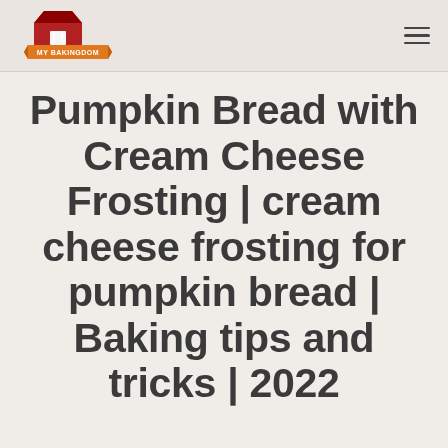[Figure (logo): My Bakingdom logo: red barn/house shape with fork and knife icon, orange ribbon banner with text MY BAKINGDOM]
Pumpkin Bread with Cream Cheese Frosting | cream cheese frosting for pumpkin bread | Baking tips and tricks | 2022